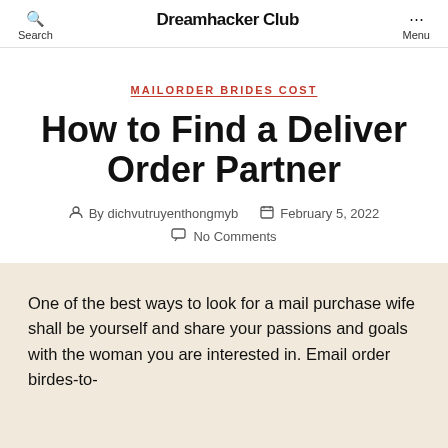Search  Dreamhacker Club  Menu
MAILORDER BRIDES COST
How to Find a Deliver Order Partner
By dichvutruyenthongmyb   February 5, 2022
No Comments
One of the best ways to look for a mail purchase wife shall be yourself and share your passions and goals with the woman you are interested in. Email order birdes-to-be are famous because you are able to start with their i...